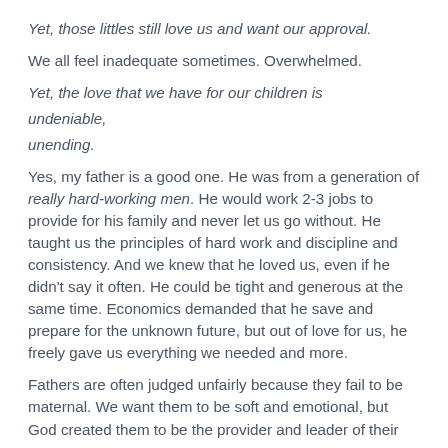Yet, those littles still love us and want our approval.
We all feel inadequate sometimes.  Overwhelmed.
Yet, the love that we have for our children is

undeniable,

unending.
Yes, my father is a good one.  He was from a generation of really hard-working men. He would work 2-3 jobs to provide for his family and never let us go without.  He taught us the principles of hard work and discipline and consistency.  And we knew that he loved us, even if he didn't say it often.  He could be tight and generous at the same time.  Economics demanded that he save and prepare for the unknown future, but out of love for us, he freely gave us everything we needed and more.
Fathers are often judged unfairly because they fail to be maternal.  We want them to be soft and emotional, but God created them to be the provider and leader of their